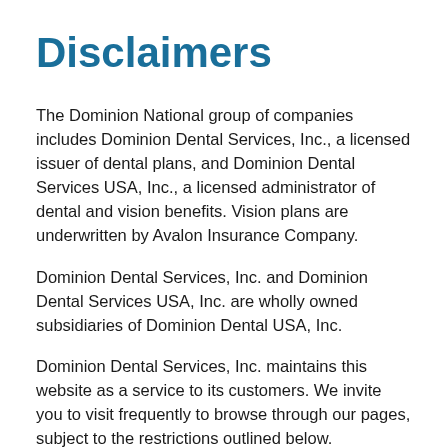Disclaimers
The Dominion National group of companies includes Dominion Dental Services, Inc., a licensed issuer of dental plans, and Dominion Dental Services USA, Inc., a licensed administrator of dental and vision benefits. Vision plans are underwritten by Avalon Insurance Company.
Dominion Dental Services, Inc. and Dominion Dental Services USA, Inc. are wholly owned subsidiaries of Dominion Dental USA, Inc.
Dominion Dental Services, Inc. maintains this website as a service to its customers. We invite you to visit frequently to browse through our pages, subject to the restrictions outlined below.
No Warranties and Limitation of Liability
Information and documents provided on this website